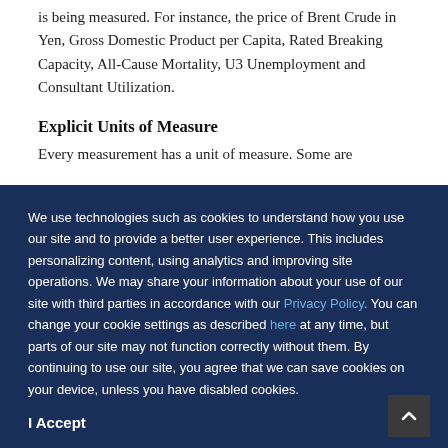is being measured. For instance, the price of Brent Crude in Yen, Gross Domestic Product per Capita, Rated Breaking Capacity, All-Cause Mortality, U3 Unemployment and Consultant Utilization.
Explicit Units of Measure
Every measurement has a unit of measure. Some are
We use technologies such as cookies to understand how you use our site and to provide a better user experience. This includes personalizing content, using analytics and improving site operations. We may share your information about your use of our site with third parties in accordance with our Privacy Policy. You can change your cookie settings as described here at any time, but parts of our site may not function correctly without them. By continuing to use our site, you agree that we can save cookies on your device, unless you have disabled cookies.
I Accept